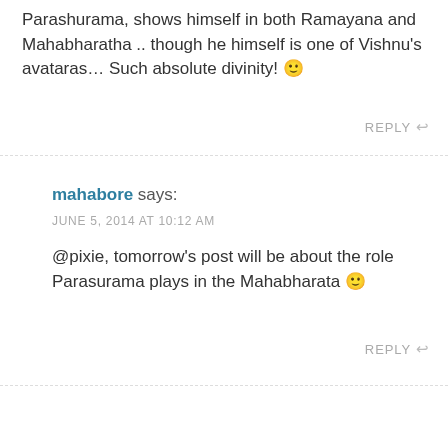Parashurama, shows himself in both Ramayana and Mahabharatha .. though he himself is one of Vishnu's avataras… Such absolute divinity! 🙂
REPLY ↩
mahabore says:
JUNE 5, 2014 AT 10:12 AM
@pixie, tomorrow's post will be about the role Parasurama plays in the Mahabharata 🙂
REPLY ↩